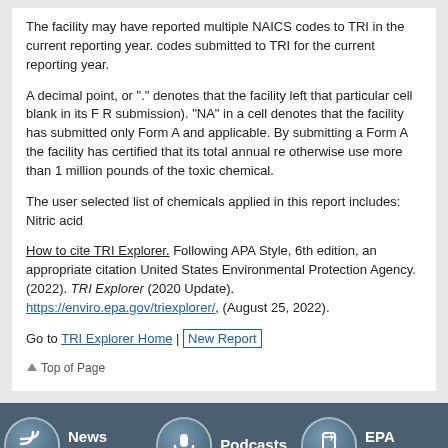The facility may have reported multiple NAICS codes to TRI in the current reporting year. codes submitted to TRI for the current reporting year.
A decimal point, or "." denotes that the facility left that particular cell blank in its F R submission). "NA" in a cell denotes that the facility has submitted only Form A and applicable. By submitting a Form A the facility has certified that its total annual re otherwise use more than 1 million pounds of the toxic chemical.
The user selected list of chemicals applied in this report includes: Nitric acid
How to cite TRI Explorer. Following APA Style, 6th edition, an appropriate citation United States Environmental Protection Agency. (2022). TRI Explorer (2020 Update). https://enviro.epa.gov/triexplorer/, (August 25, 2022).
Go to TRI Explorer Home | New Report
Top of Page
[Figure (infographic): EPA footer bar with three icon groups: News Feeds (RSS icon), Podcasts (microphone icon), EPA Mobile (mobile phone icon)]
EPA Home | Privacy and Security Notice | Contact Us | Last updated on 8/25/2022